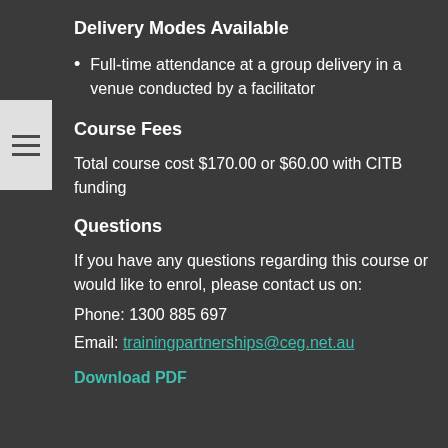Delivery Modes Available
Full-time attendance at a group delivery in a venue conducted by a facilitator
Course Fees
Total course cost $170.00 or $60.00 with CITB funding
Questions
If you have any questions regarding this course or would like to enrol, please contact us on:
Phone: 1300 885 697
Email: trainingpartnerships@ceg.net.au
Download PDF